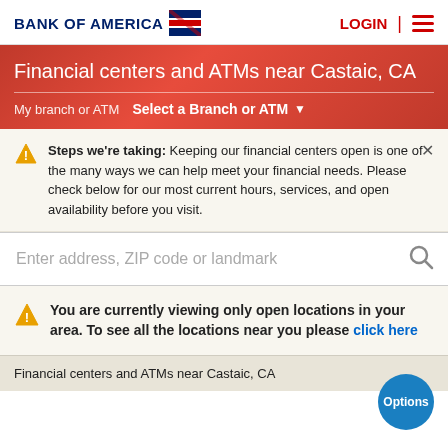BANK OF AMERICA | LOGIN
Financial centers and ATMs near Castaic, CA
My branch or ATM  Select a Branch or ATM
Steps we're taking: Keeping our financial centers open is one of the many ways we can help meet your financial needs. Please check below for our most current hours, services, and open availability before you visit.
Enter address, ZIP code or landmark
You are currently viewing only open locations in your area. To see all the locations near you please click here
Financial centers and ATMs near Castaic, CA